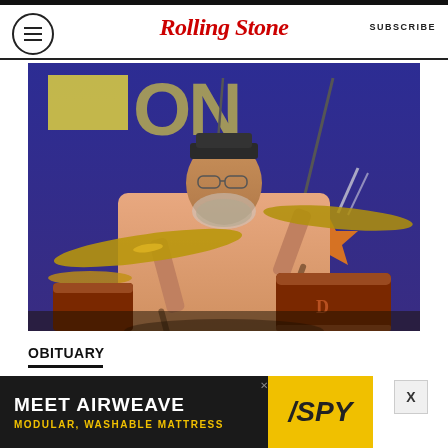Rolling Stone | SUBSCRIBE
[Figure (photo): A middle-aged bearded man with glasses and a dark hat playing drums on stage, wearing a pink/salmon colored shirt. He is seated behind a drum kit with cymbals and red-sparkle drums. The background is a dark blue banner/curtain with yellow text and a star shape.]
OBITUARY
[Figure (infographic): Advertisement banner reading 'MEET AIRWEAVE' with subtext 'MODULAR, WASHABLE MATTRESS' and a SPY logo on yellow background]